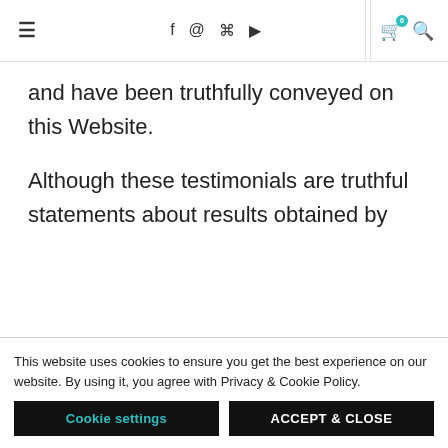≡  f  ⊙  ⊗  ▶  🛒0  🔍
and have been truthfully conveyed on this Website.
Although these testimonials are truthful statements about results obtained by these clients and/or customers, the results obtained by these clients and/or customers are not
This website uses cookies to ensure you get the best experience on our website. By using it, you agree with Privacy & Cookie Policy.
Cookie settings   ACCEPT & CLOSE